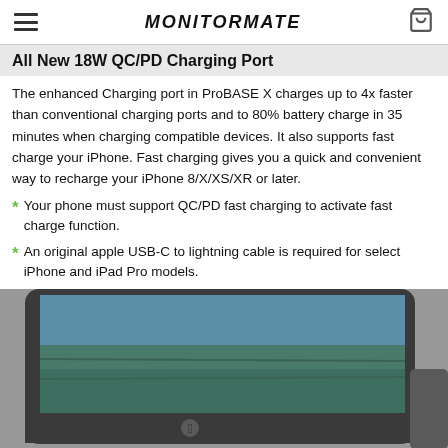MONITORMATE
All New 18W QC/PD Charging Port
The enhanced Charging port in ProBASE X charges up to 4x faster than conventional charging ports and to 80% battery charge in 35 minutes when charging compatible devices. It also supports fast charge your iPhone. Fast charging gives you a quick and convenient way to recharge your iPhone 8/X/XS/XR or later.
* Your phone must support QC/PD fast charging to activate fast charge function.
* An original apple USB-C to lightning cable is required for select iPhone and iPad Pro models.
[Figure (photo): Photo of an iMac monitor showing a landscape wallpaper, with a dark bezel, Apple logo on the chin, and a partial view of another device to the right.]